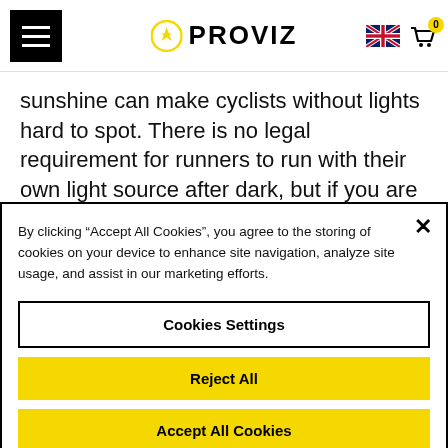PROVIZ
sunshine can make cyclists without lights hard to spot. There is no legal requirement for runners to run with their own light source after dark, but if you are venturing away from street lights you may find it
By clicking "Accept All Cookies", you agree to the storing of cookies on your device to enhance site navigation, analyze site usage, and assist in our marketing efforts.
Cookies Settings
Reject All
Accept All Cookies